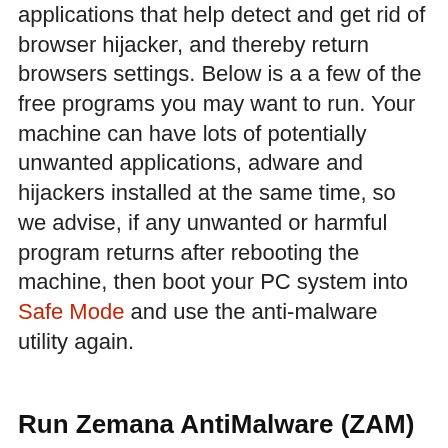applications that help detect and get rid of browser hijacker, and thereby return browsers settings. Below is a a few of the free programs you may want to run. Your machine can have lots of potentially unwanted applications, adware and hijackers installed at the same time, so we advise, if any unwanted or harmful program returns after rebooting the machine, then boot your PC system into Safe Mode and use the anti-malware utility again.
Run Zemana AntiMalware (ZAM) to remove Saerch.net home page
Zemana Free is a utility which can remove ad supported software, potentially